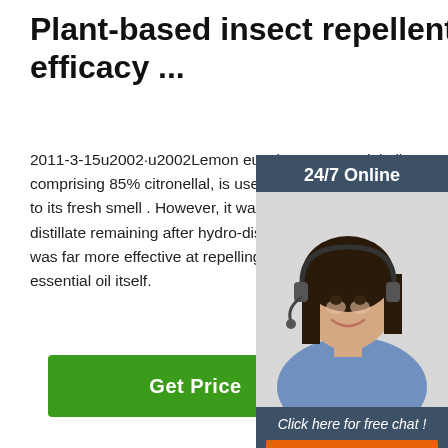Plant-based insect repellents: a review of their efficacy ...
2011-3-15u2002·u2002Lemon eucalyptus essential oil, comprising 85% citronellal, is used by cosmetic i... to its fresh smell . However, it was discovered the distillate remaining after hydro-distillation of the e... was far more effective at repelling mosquitoes th... essential oil itself.
[Figure (other): Green 'Get Price' button]
[Figure (photo): 24/7 Online chat widget with female agent wearing headset]
[Figure (photo): Dry grass/vegetation background photo with TOP logo watermark]